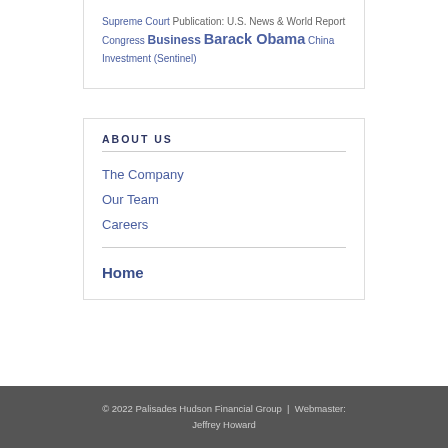Supreme Court Publication: U.S. News & World Report Congress Business Barack Obama China Investment (Sentinel)
ABOUT US
The Company
Our Team
Careers
Home
© 2022 Palisades Hudson Financial Group | Webmaster: Jeffrey Howard